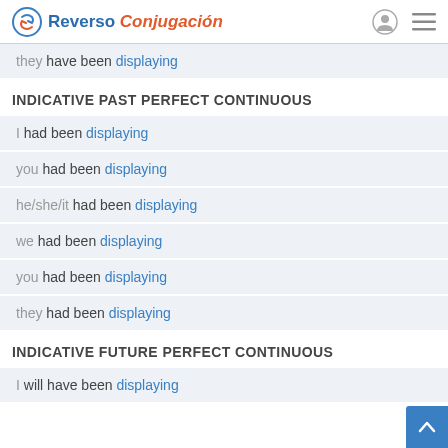Reverso Conjugación
they have been displaying
INDICATIVE PAST PERFECT CONTINUOUS
I had been displaying
you had been displaying
he/she/it had been displaying
we had been displaying
you had been displaying
they had been displaying
INDICATIVE FUTURE PERFECT CONTINUOUS
I will have been displaying